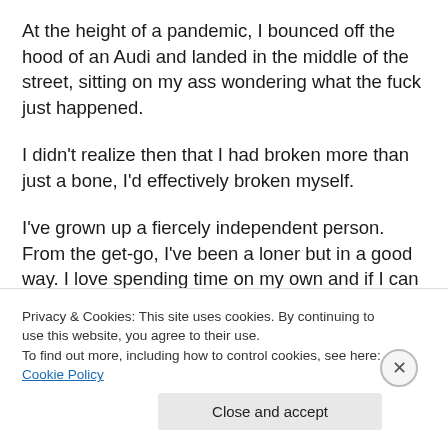At the height of a pandemic, I bounced off the hood of an Audi and landed in the middle of the street, sitting on my ass wondering what the fuck just happened.
I didn't realize then that I had broken more than just a bone, I'd effectively broken myself.
I've grown up a fiercely independent person. From the get-go, I've been a loner but in a good way. I love spending time on my own and if I can go about my business without ever having to ask someone to help, I am a very happy camper. I like doing my own chores, handling my own
Privacy & Cookies: This site uses cookies. By continuing to use this website, you agree to their use.
To find out more, including how to control cookies, see here: Cookie Policy
Close and accept